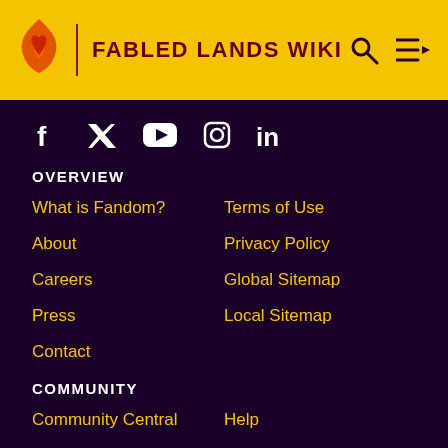FABLED LANDS WIKI
[Figure (logo): Fandom flame logo in orange/red on yellow header bar]
[Figure (infographic): Social media icons: Facebook, Twitter, YouTube, Instagram, LinkedIn in white on dark purple background]
OVERVIEW
What is Fandom?
Terms of Use
About
Privacy Policy
Careers
Global Sitemap
Press
Local Sitemap
Contact
COMMUNITY
Community Central
Help